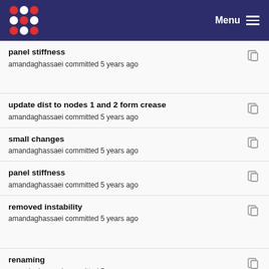Menu
panel stiffness
amandaghassaei committed 5 years ago
update dist to nodes 1 and 2 form crease
amandaghassaei committed 5 years ago
small changes
amandaghassaei committed 5 years ago
panel stiffness
amandaghassaei committed 5 years ago
removed instability
amandaghassaei committed 5 years ago
renaming
amandaghassaei committed 5 years ago